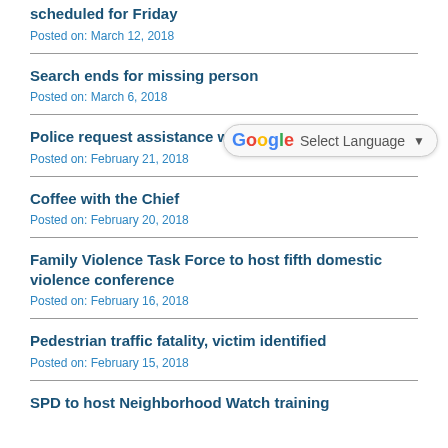scheduled for Friday
Posted on: March 12, 2018
Search ends for missing person
Posted on: March 6, 2018
Police request assistance with identifying child
Posted on: February 21, 2018
Coffee with the Chief
Posted on: February 20, 2018
Family Violence Task Force to host fifth domestic violence conference
Posted on: February 16, 2018
Pedestrian traffic fatality, victim identified
Posted on: February 15, 2018
SPD to host Neighborhood Watch training